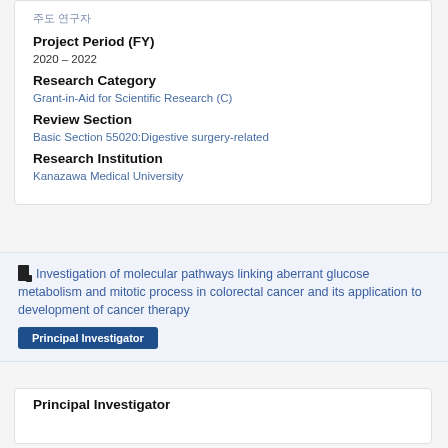주도 연구자
Project Period (FY)
2020 – 2022
Research Category
Grant-in-Aid for Scientific Research (C)
Review Section
Basic Section 55020:Digestive surgery-related
Research Institution
Kanazawa Medical University
Investigation of molecular pathways linking aberrant glucose metabolism and mitotic process in colorectal cancer and its application to development of cancer therapy
Principal Investigator
Principal Investigator